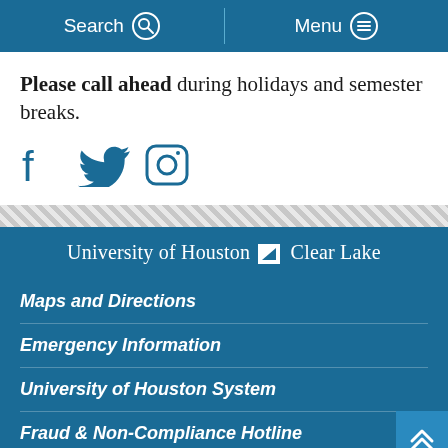Search   Menu
Please call ahead during holidays and semester breaks.
[Figure (other): Social media icons: Facebook, Twitter, Instagram in blue]
[Figure (logo): University of Houston Clear Lake logo with checkmark icon]
Maps and Directions
Emergency Information
University of Houston System
Fraud & Non-Compliance Hotline